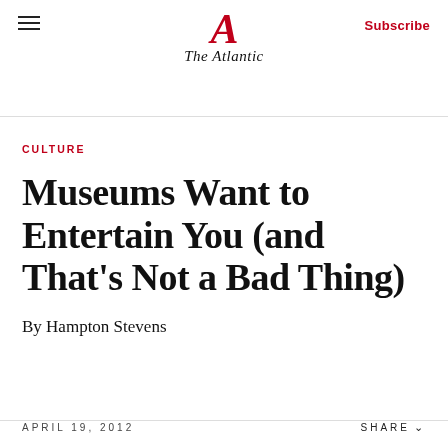The Atlantic
CULTURE
Museums Want to Entertain You (and That's Not a Bad Thing)
By Hampton Stevens
APRIL 19, 2012   SHARE